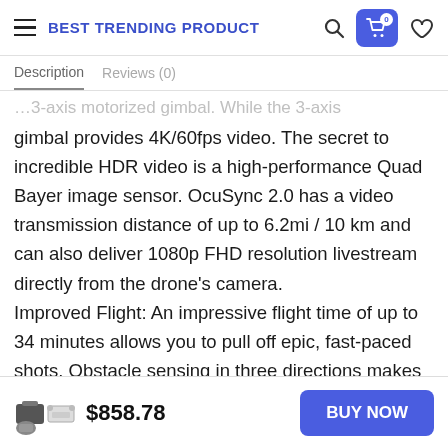BEST TRENDING PRODUCT
Description   Reviews (0)
gimbal provides 4K/60fps video. The secret to incredible HDR video is a high-performance Quad Bayer image sensor. OcuSync 2.0 has a video transmission distance of up to 6.2mi / 10 km and can also deliver 1080p FHD resolution livestream directly from the drone's camera. Improved Flight: An impressive flight time of up to 34 minutes allows you to pull off epic, fast-paced shots. Obstacle sensing in three directions makes it extra convenient for beginners and improves safety for
$858.78   BUY NOW